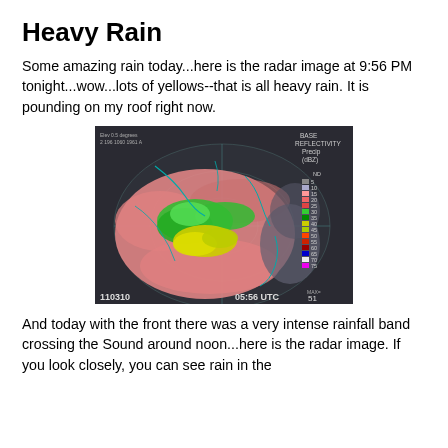Heavy Rain
Some amazing rain today...here is the radar image at 9:56 PM tonight...wow...lots of yellows--that is all heavy rain. It is pounding on my roof right now.
[Figure (other): NEXRAD radar reflectivity image showing heavy precipitation (BASE REFLECTIVITY Precip dBZ) with color scale from ND to 75 dBZ. Large area of pink/salmon (15-25 dBZ) surrounding a core of green and yellow (30-45 dBZ) intense rainfall. Timestamp shows 110310 and 05:56 UTC, MAX=51.]
And today with the front there was a very intense rainfall band crossing the Sound around noon...here is the radar image. If you look closely, you can see rain in the